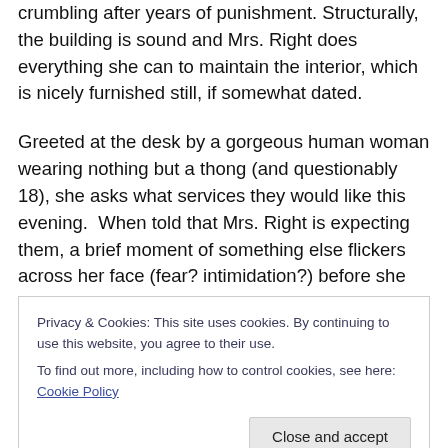crumbling after years of punishment. Structurally, the building is sound and Mrs. Right does everything she can to maintain the interior, which is nicely furnished still, if somewhat dated.
Greeted at the desk by a gorgeous human woman wearing nothing but a thong (and questionably 18), she asks what services they would like this evening.  When told that Mrs. Right is expecting them, a brief moment of something else flickers across her face (fear? intimidation?) before she smiles and cheerfully asks them
Privacy & Cookies: This site uses cookies. By continuing to use this website, you agree to their use.
To find out more, including how to control cookies, see here: Cookie Policy
Close and accept
shows off her cavernous cleavage, but her demeanour is